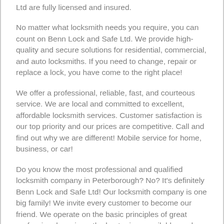Ltd are fully licensed and insured.
No matter what locksmith needs you require, you can count on Benn Lock and Safe Ltd. We provide high-quality and secure solutions for residential, commercial, and auto locksmiths. If you need to change, repair or replace a lock, you have come to the right place!
We offer a professional, reliable, fast, and courteous service. We are local and committed to excellent, affordable locksmith services. Customer satisfaction is our top priority and our prices are competitive. Call and find out why we are different! Mobile service for home, business, or car!
Do you know the most professional and qualified locksmith company in Peterborough? No? It's definitely Benn Lock and Safe Ltd! Our locksmith company is one big family! We invite every customer to become our friend. We operate on the basic principles of great professional services, the best prices available, and a